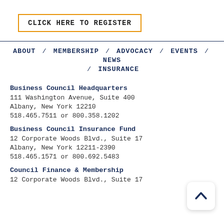CLICK HERE TO REGISTER
ABOUT / MEMBERSHIP / ADVOCACY / EVENTS / NEWS / INSURANCE
Business Council Headquarters
111 Washington Avenue, Suite 400
Albany, New York 12210
518.465.7511 or 800.358.1202
Business Council Insurance Fund
12 Corporate Woods Blvd., Suite 17
Albany, New York 12211-2390
518.465.1571 or 800.692.5483
Council Finance & Membership
12 Corporate Woods Blvd., Suite 17